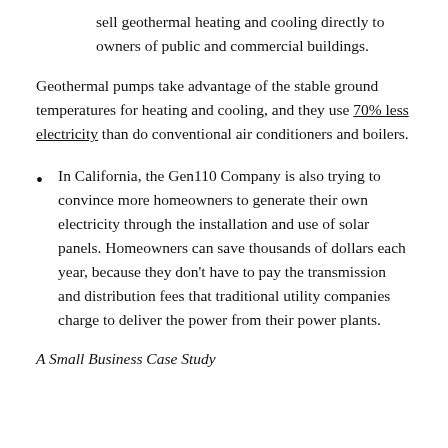sell geothermal heating and cooling directly to owners of public and commercial buildings.
Geothermal pumps take advantage of the stable ground temperatures for heating and cooling, and they use 70% less electricity than do conventional air conditioners and boilers.
In California, the Gen110 Company is also trying to convince more homeowners to generate their own electricity through the installation and use of solar panels. Homeowners can save thousands of dollars each year, because they don't have to pay the transmission and distribution fees that traditional utility companies charge to deliver the power from their power plants.
A Small Business Case Study